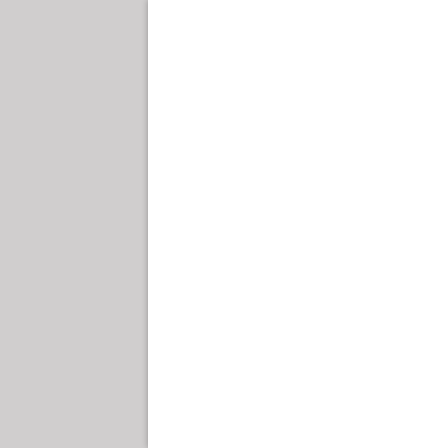was written before Alinsky, but covered some of the same ground, lamenting how the government involvement in education would turn out poorly, yet the books purpose was not to push